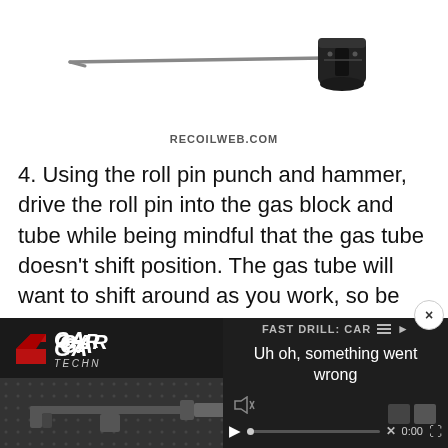[Figure (photo): A long metal rod (roll pin punch) with a black cylindrical attachment at the right end, viewed against a white background.]
RECOILWEB.COM
4. Using the roll pin punch and hammer, drive the roll pin into the gas block and tube while being mindful that the gas tube doesn't shift position. The gas tube will want to shift around as you work, so be careful to adjust the holes back into alignment as you go.
[Figure (screenshot): A partially overlapping video player UI. Left side shows a dark panel with a red G logo and 'GA[R] TECHN[OLOGIES]' branding and a gun image below. Right side shows a dark video player with text 'FAST DRILL: CAR[BINE]' and 'Uh oh, something went wrong', with a mute icon, X button, play button, progress bar, 0:00 timestamp, and fullscreen icon. A close (x) button appears at the top right.]